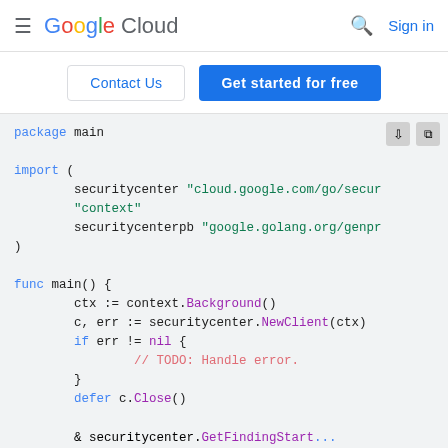Google Cloud | Sign in
[Figure (screenshot): Google Cloud navigation bar with hamburger menu, Google Cloud logo, search icon, and Sign in link]
[Figure (screenshot): CTA buttons: 'Contact Us' (outlined) and 'Get started for free' (blue filled)]
package main

import (
	securitycenter "cloud.google.com/go/secur
	"context"
	securitycenterpb "google.golang.org/genpr
)

func main() {
	ctx := context.Background()
	c, err := securitycenter.NewClient(ctx)
	if err != nil {
		// TODO: Handle error.
	}
	defer c.Close()
& securitycenter.GetFindingStart...